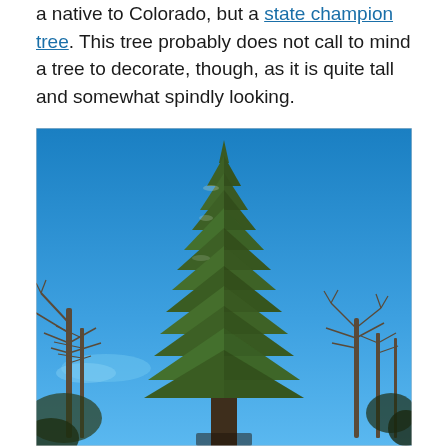a native to Colorado, but a state champion tree. This tree probably does not call to mind a tree to decorate, though, as it is quite tall and somewhat spindly looking.
[Figure (photo): A tall, spindly spruce or fir tree photographed against a bright blue sky. The tree is evergreen with green foliage and a narrow, irregular shape. Bare deciduous trees are visible on the left and right sides of the frame.]